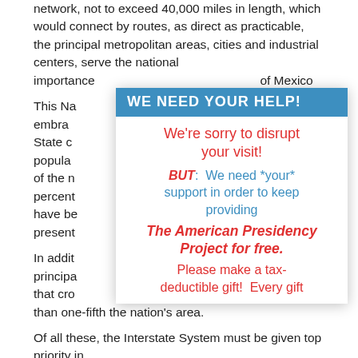network, not to exceed 40,000 miles in length, which would connect by routes, as direct as practicable, the principal metropolitan areas, cities and industrial centers, serve the national defense, and connect at suitable border points with routes of importance to the commerce of Canada and Mexico.
This National System of Interstate Highways embraces 42 State capitals and would serve more than 70 percent of the population of the country. Approximately 35 percent of the system's mileage would carry traffic of a fifth of the nation's total. Approximately 75 percent of the mileage have been built to standards that on the average are presently adequate.
In addition, there is need for a system designated as the principal arterial routes consisting of all State roads that cross or penetrate areas of density, containing more than one-fifth the nation's area.
Of all these, the Interstate System must be given top priority in
[Figure (infographic): Overlay popup box with blue header 'WE NEED YOUR HELP!' and body text in red and blue: 'We're sorry to disrupt your visit! BUT: We need *your* support in order to keep providing The American Presidency Project for free. Please make a tax-deductible gift! Every gift']